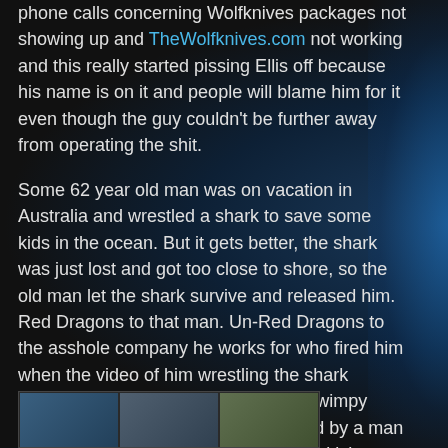phone calls concerning Wolfknives packages not showing up and TheWolfknives.com not working and this really started pissing Ellis off because his name is on it and people will blame him for it even though the guy couldn't be further away from operating the shit.
Some 62 year old man was on vacation in Australia and wrestled a shark to save some kids in the ocean. But it gets better, the shark was just lost and got too close to shore, so the old man let the shark survive and released him. Red Dragons to that man. Un-Red Dragons to the asshole company he works for who fired him when the video of him wrestling the shark surfaced online. What type of boring, wimpy motherfuckers would be so threatened by a man wrestling a shark anyway? Oh right, British people. British people also are the founders of racism according to a story Rawdog cited that he read somewhere one time that he sort of remembered so I believe it entirely.
[Figure (photo): Partial image strip at the bottom of the page showing what appears to be multiple photo segments, partially cut off]